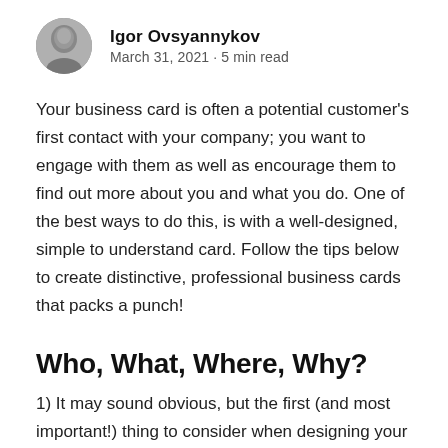[Figure (photo): Circular profile photo of author Igor Ovsyannykov, grayscale portrait]
Igor Ovsyannykov
March 31, 2021 · 5 min read
Your business card is often a potential customer's first contact with your company; you want to engage with them as well as encourage them to find out more about you and what you do. One of the best ways to do this, is with a well-designed, simple to understand card. Follow the tips below to create distinctive, professional business cards that packs a punch!
Who, What, Where, Why?
1) It may sound obvious, but the first (and most important!) thing to consider when designing your